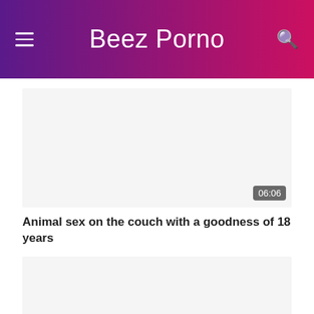Beez Porno
[Figure (screenshot): Video thumbnail placeholder for first video, white/light gray background, with duration badge 06:06 in bottom right]
Animal sex on the couch with a goodness of 18 years
[Figure (screenshot): Video thumbnail placeholder for second video, white/light gray background, with HD badge in bottom left and duration badge 04:52 in bottom right]
Brunette with big breasts has amazing oral sex and is fucked well.